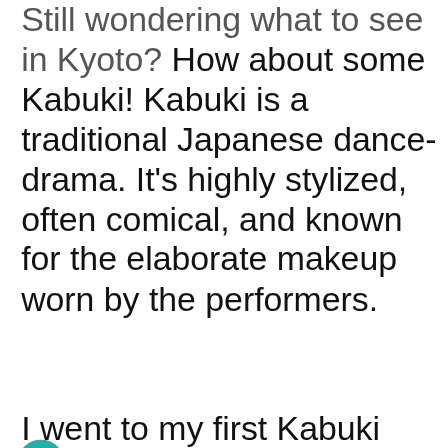Still wondering what to see in Kyoto? How about some Kabuki! Kabuki is a traditional Japanese dance-drama. It's highly stylized, often comical, and known for the elaborate makeup worn by the performers.
I went to my first Kabuki theatre in 2013 and laughed so hard even though I couldn't understand what anyone was saying. It's a perfect time for visitors ese. .
[Figure (other): Heart/like button (teal circle with heart icon), like count showing 10, and share button overlay on top of text]
[Figure (other): WHAT'S NEXT widget showing '25 Best Things to do...' with a thumbnail photo of a person in traditional Japanese dress]
[Figure (other): Advertisement banner for Topgolf showing Topgolf logo, text 'Topgolf® – Family Fun' and 'Topgolf' in blue, navigation/map icon, and microphone icon]